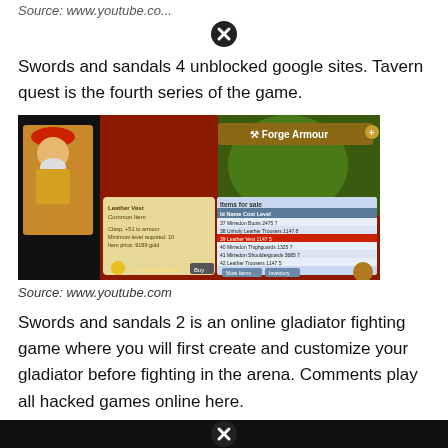Source: www.youtube.com
[Figure (screenshot): Screenshot of Swords and Sandals game showing Forge Armour screen with item shop listing various items for sale including Mirredon Boots, Unholy Leather Trousers, Mirredon Thighguards, Mirredon Shoulderguards, Leather Trousers, Lupine Chainshirt, Leather Greaves, Leather Boots with costs and levels. Player gold shown as 99990101.]
Source: www.youtube.com
Swords and sandals 2 is an online gladiator fighting game where you will first create and customize your gladiator before fighting in the arena. Comments play all hacked games online here.
[Figure (screenshot): Bottom portion of another screenshot, partially visible, showing dark game screen with close button overlay.]